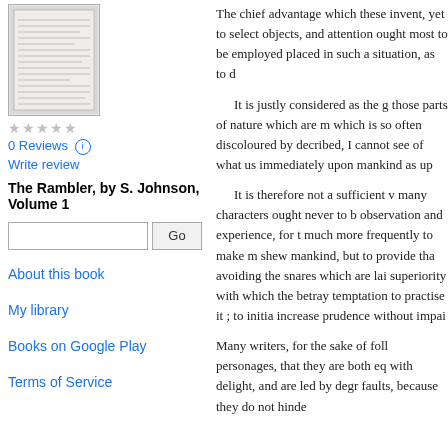[Figure (illustration): Thumbnail image of a book page/document]
0 Reviews (i)
Write review
The Rambler, by S. Johnson, Volume 1
About this book
My library
Books on Google Play
Terms of Service
The chief advantage which these invent, yet to select objects, and attention ought most to be employed placed in such a situation, as to d
It is justly considered as the g those parts of nature which are m which is so often discoloured by decribed, I cannot see of what us immediately upon mankind as up
It is therefore not a sufficient v many characters ought never to b observation and experience, for t much more frequently to make m shew mankind, but to provide tha avoiding the snares which are lai superiority with which the betray temptation to practise it ; to initia increase prudence without impai
Many writers, for the sake of foll personages, that they are both eq with delight, and are led by degr faults, because they do not hinde